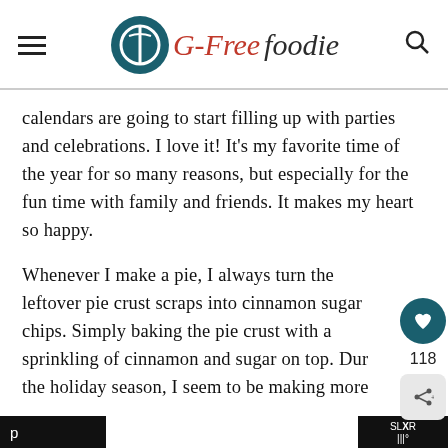G-Free Foodie
calendars are going to start filling up with parties and celebrations. I love it! It's my favorite time of the year for so many reasons, but especially for the fun time with family and friends. It makes my heart so happy.
Whenever I make a pie, I always turn the leftover pie crust scraps into cinnamon sugar chips. Simply baking the pie crust with a sprinkling of cinnamon and sugar on top. During the holiday season, I seem to be making more